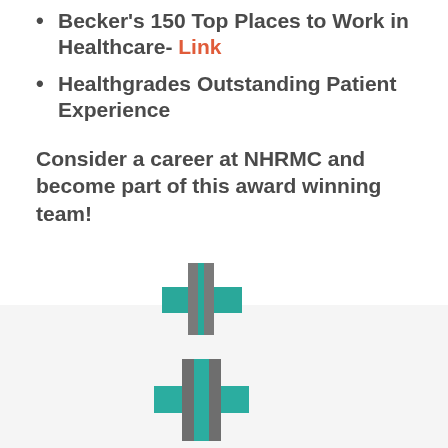Becker's 150 Top Places to Work in Healthcare- Link
Healthgrades Outstanding Patient Experience
Consider a career at NHRMC and become part of this award winning team!
[Figure (logo): New Hanover Regional Medical Center logo with teal cross and gray cross shapes, with text 'New Hanover Regional Medical Center']